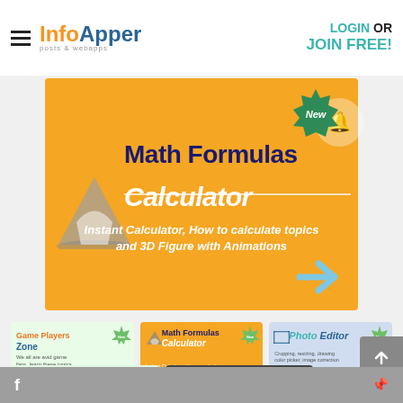InfoApper posts & webapps | LOGIN OR JOIN FREE!
[Figure (screenshot): Math Formulas Calculator app banner with orange background, gray hat logo, bold dark blue title 'Math Formulas Calculator', white italic subtitle 'Instant Calculator, How to calculate topics and 3D Figure with Animations', New badge in green, blue arrow pointing right]
[Figure (screenshot): Game Players Zone app card thumbnail with light green background]
[Figure (screenshot): Math Formulas Calculator app card thumbnail with orange background]
[Figure (screenshot): Photo Editor app card thumbnail with light blue background]
[Figure (screenshot): GIF Maker app card thumbnail with light green background]
[Figure (screenshot): JavaScript Obfuscator app card thumbnail with dark background]
Social sharing footer with Facebook and Pinterest icons, Help button